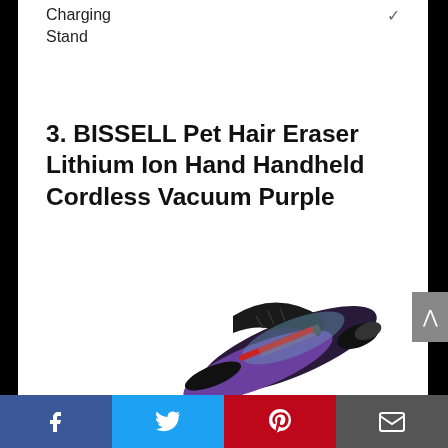Charging Stand ✓
3. BISSELL Pet Hair Eraser Lithium Ion Hand Handheld Cordless Vacuum Purple
[Figure (photo): BISSELL Pet Hair Eraser Lithium Ion handheld cordless vacuum in purple color, shown at an angle from above]
Social share bar with Facebook, Twitter, Pinterest, and Email buttons